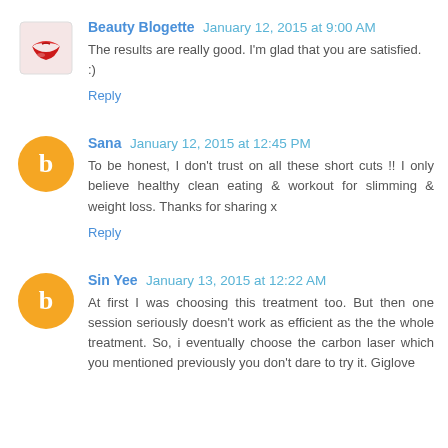Beauty Blogette  January 12, 2015 at 9:00 AM
The results are really good. I'm glad that you are satisfied. :)
Reply
Sana  January 12, 2015 at 12:45 PM
To be honest, I don't trust on all these short cuts !! I only believe healthy clean eating & workout for slimming & weight loss. Thanks for sharing x
Reply
Sin Yee  January 13, 2015 at 12:22 AM
At first I was choosing this treatment too. But then one session seriously doesn't work as efficient as the the whole treatment. So, i eventually choose the carbon laser which you mentioned previously you don't dare to try it. Giglove